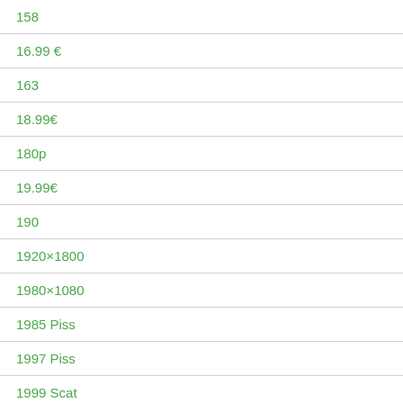158
16.99 €
163
18.99€
180p
19.99€
190
1920×1800
1980×1080
1985 Piss
1997 Piss
1999 Scat
2